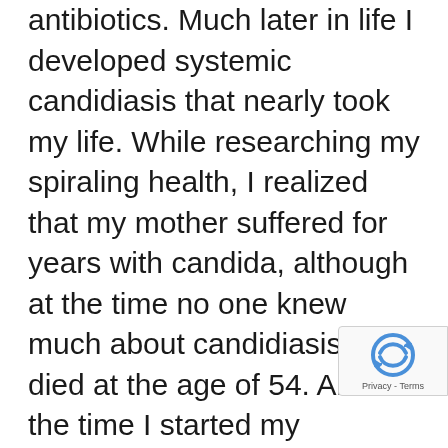antibiotics. Much later in life I developed systemic candidiasis that nearly took my life. While researching my spiraling health, I realized that my mother suffered for years with candida, although at the time no one knew much about candidiasis. She died at the age of 54. About the time I started my systemic issues. FMS, Multiple chemical Sensivity syndrome. During that time, I linked alot of health issues one to the other and all primary causes of candidiasis. I believe that aspartame was a very direct cause of numerous health issues, neurologically. 60 days after going off asparatame and any artificial sweetners I saw a big difference in my issues. I recommend anyone using any sort of diet products to stop, and see how you feel... differences are amazing. As soon as I was...
[Figure (logo): reCAPTCHA badge with logo and Privacy - Terms text]